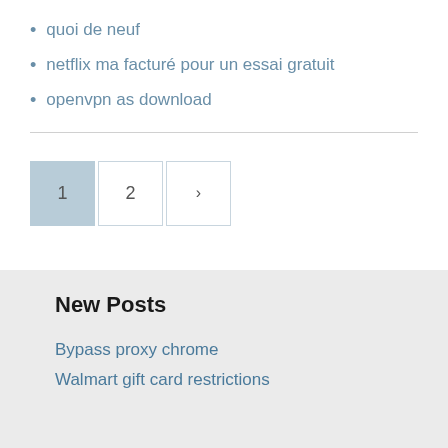quoi de neuf
netflix ma facturé pour un essai gratuit
openvpn as download
[Figure (other): Pagination controls showing page 1 (active/highlighted), page 2, and next arrow button]
New Posts
Bypass proxy chrome
Walmart gift card restrictions